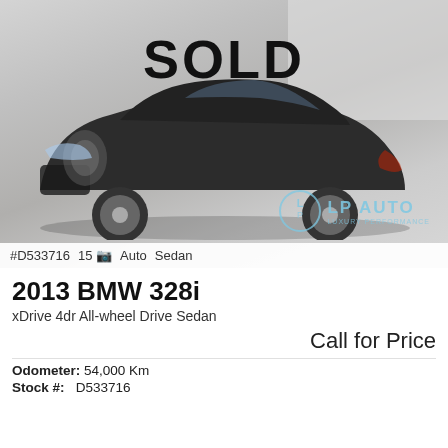[Figure (photo): Dark grey 2013 BMW 328i sedan with SOLD overlay text and LP Auto dealer watermark]
#D533716   15 📷   Auto   Sedan
2013 BMW 328i
xDrive 4dr All-wheel Drive Sedan
Call for Price
Odometer:  54,000 Km
Stock #:    D533716